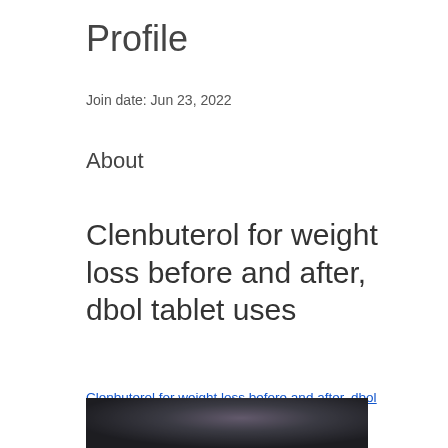Profile
Join date: Jun 23, 2022
About
Clenbuterol for weight loss before and after, dbol tablet uses
Clenbuterol for weight loss before and after, dbol tablet uses - Buy anabolic steroids online
[Figure (photo): Dark blurred image, appears to show tablets or supplements on a dark background]